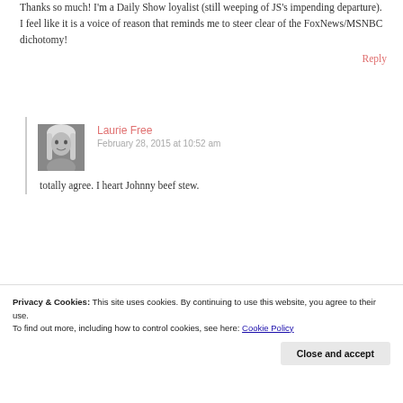Thanks so much! I'm a Daily Show loyalist (still weeping of JS's impending departure). I feel like it is a voice of reason that reminds me to steer clear of the FoxNews/MSNBC dichotomy!
Reply
Laurie Free
February 28, 2015 at 10:52 am
totally agree. I heart Johnny beef stew.
Privacy & Cookies: This site uses cookies. By continuing to use this website, you agree to their use.
To find out more, including how to control cookies, see here: Cookie Policy
Close and accept